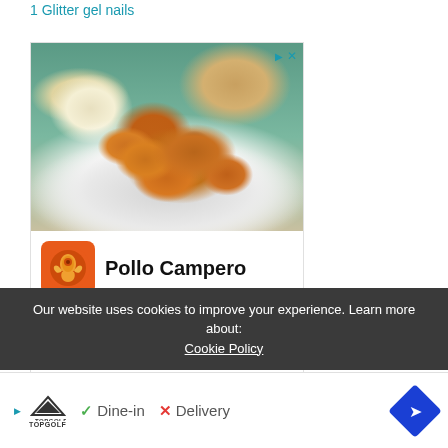1 Glitter gel nails
[Figure (photo): Advertisement for Pollo Campero restaurant showing fried chicken pieces on a white plate with dipping sauce, alongside bread rolls. Includes brand logo, name, and location details for Herndon 10AM-10PM with a navigation button.]
2 Embellished gel nail designs
3 Coffin gel nails
Our website uses cookies to improve your experience. Learn more about: Cookie Policy
[Figure (other): Bottom advertisement bar showing Topgolf logo with play icon, Dine-in with checkmark, Delivery with X mark, and navigation arrow button]